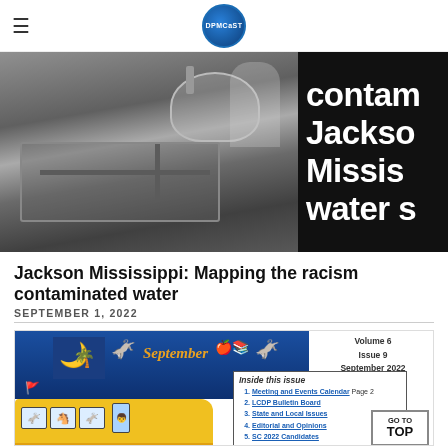≡  DPMCaST logo
[Figure (photo): Black and white historical photo of a sink/water fountain with pipes, partially overlaid with large white text on black background reading 'contam... Jackson Mississippi water s...' (contaminated water crisis headline)]
Jackson Mississippi: Mapping the racism contaminated water
SEPTEMBER 1, 2022
[Figure (screenshot): Newsletter preview image: DPMCaST newsletter header for September 2022, Volume 6 Issue 9, featuring South Carolina state silhouette, donkey mascots, apple and book icons, September text, and a school bus with donkey characters. Includes 'Inside this issue' box listing: 1. Meeting and Events Calendar Page 2, 2. LCDP Bulletin Board, 3. State and Local Issues, 4. Editorial and Opinions, 5. SC 2022 Candidates. Also shows 'GO TO TOP' button.]